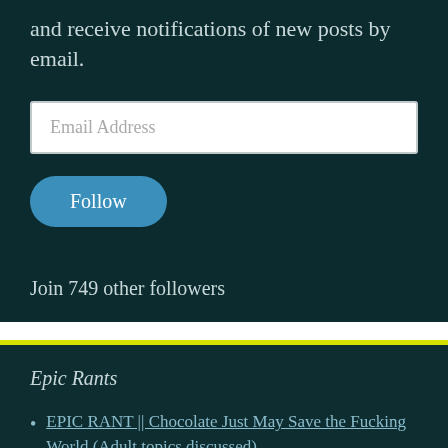and receive notifications of new posts by email.
[Figure (other): Email address input field with placeholder text 'Email Address']
[Figure (other): Blue rounded 'Follow' button]
Join 749 other followers
Epic Rants
EPIC RANT || Chocolate Just May Save the Fucking World (Adult topics discussed)
Epic Rant || Americans and Justin Bieber